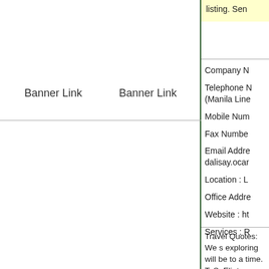listing. Sen
Banner Link   Banner Link
Company N
Telephone N
(Manila Line
Mobile Num
Fax Numbe
Email Addre
dalisay.ocar
Location : L
Office Addre
Website : ht
Services : R
Travel Quotes: We s exploring will be to a time. T. S. Eliot